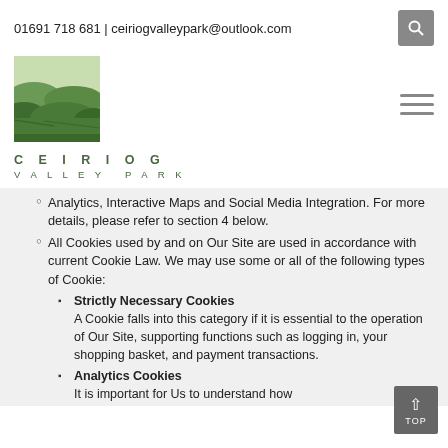01691 718 681 | ceiriogvalleypark@outlook.com
[Figure (logo): Ceiriog Valley Park logo — illustrated green hillside landscape in a square frame]
CEIRIOG VALLEY PARK
Analytics, Interactive Maps and Social Media Integration. For more details, please refer to section 4 below.
All Cookies used by and on Our Site are used in accordance with current Cookie Law. We may use some or all of the following types of Cookie:
Strictly Necessary Cookies — A Cookie falls into this category if it is essential to the operation of Our Site, supporting functions such as logging in, your shopping basket, and payment transactions.
Analytics Cookies — It is important for Us to understand how